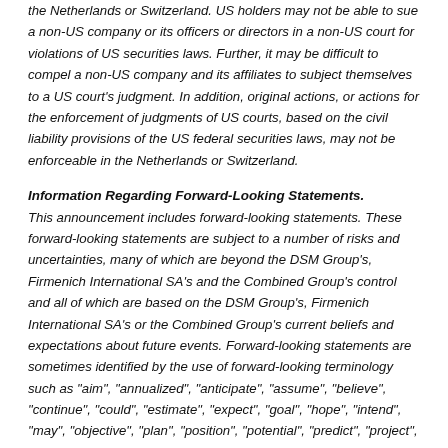the Netherlands or Switzerland. US holders may not be able to sue a non-US company or its officers or directors in a non-US court for violations of US securities laws. Further, it may be difficult to compel a non-US company and its affiliates to subject themselves to a US court's judgment. In addition, original actions, or actions for the enforcement of judgments of US courts, based on the civil liability provisions of the US federal securities laws, may not be enforceable in the Netherlands or Switzerland.
Information Regarding Forward-Looking Statements.
This announcement includes forward-looking statements. These forward-looking statements are subject to a number of risks and uncertainties, many of which are beyond the DSM Group's, Firmenich International SA's and the Combined Group's control and all of which are based on the DSM Group's, Firmenich International SA's or the Combined Group's current beliefs and expectations about future events. Forward-looking statements are sometimes identified by the use of forward-looking terminology such as "aim", "annualized", "anticipate", "assume", "believe", "continue", "could", "estimate", "expect", "goal", "hope", "intend", "may", "objective", "plan", "position", "potential", "predict", "project", "risk", "seek", "should", "target", "will" or "would" or the highlights or the negatives thereof, other variations thereon or